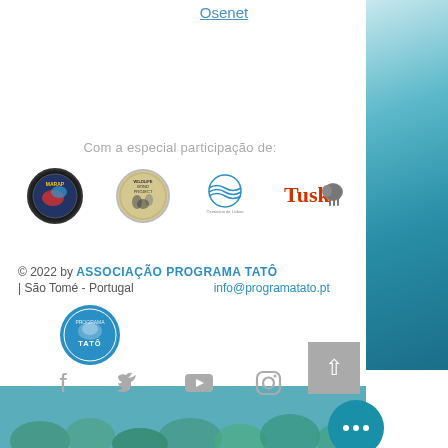Osenet
Com a especial participação de:
[Figure (logo): MARAP circular logo with colorful fish design]
[Figure (logo): Wildlife Bond Project circular logo]
[Figure (logo): Oceanário de Lisboa logo with wave pattern]
[Figure (logo): Tusk logo with elephant silhouette]
© 2022 by ASSOCIAÇÃO PROGRAMA TATÔ | São Tomé - Portugal    info@programatato.pt
[Figure (logo): Programa Tatô circular logo in blue]
[Figure (illustration): Gray scroll-to-top arrow button]
[Figure (illustration): Social media icons: Facebook, Twitter, YouTube, Instagram, LinkedIn]
[Figure (illustration): Teal chat/more options button with three dots]
[Figure (photo): Coral reef underwater photo at bottom of page]